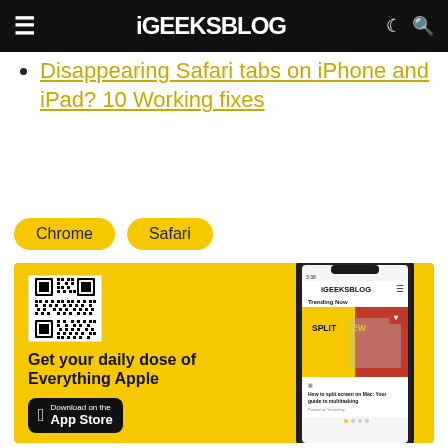iGEEKSBLOG
Disappearing Safari tabs on iPhone and iPad? 10 Working fixes
Chrome   Safari
[Figure (infographic): iGeeksBlog app advertisement banner with QR code, text 'Get your daily dose of Everything Apple', App Store download button, and an iPhone mockup showing the iGeeksBlog website with a 'Split View' article.]
iGeeksBlog has affiliate and sponsored partnerships. We may earn commissions on purchases made using our